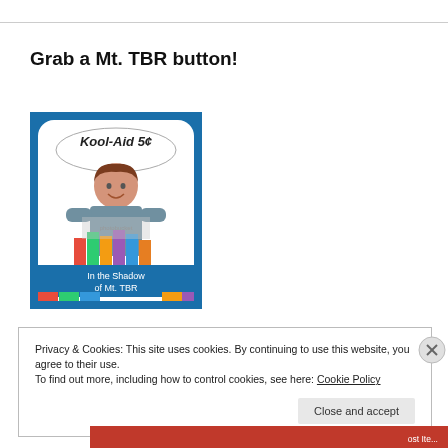Grab a Mt. TBR button!
[Figure (illustration): Vintage-style illustration showing a woman in a blue/teal top holding colorful books/items, with 'Kool-Aid 5¢' in a speech bubble and 'In the Shadow of Mt. TBR' text on a blue banner at the bottom. Blue background with photobucket watermark.]
Privacy & Cookies: This site uses cookies. By continuing to use this website, you agree to their use.
To find out more, including how to control cookies, see here: Cookie Policy
Close and accept